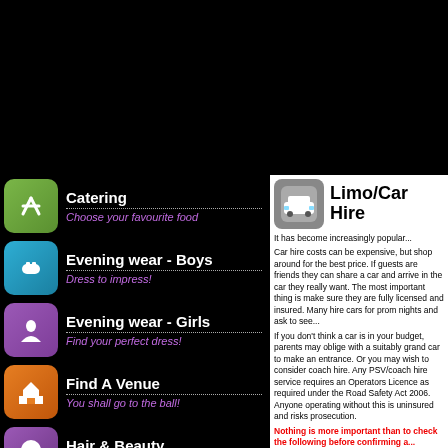Catering — Choose your favourite food
Evening wear - Boys — Dress to impress!
Evening wear - Girls — Find your perfect dress!
Find A Venue — You shall go to the ball!
Hair & Beauty — Select your style
Jewellery & Accessories
Limo/Car Hire
It has become increasingly popular...
Car hire costs can be expensive, but shop around for the best price. If guests are friends they can share a car and arrive in the car they really want. The most important thing is make sure they are fully licensed and insured. Many hire cars for prom nights and ask to see...
If you don't think a car is in your budget, parents may oblige with a suitably grand car to make an entrance. Or you may wish to consider coach hire. Any PSV/coach hire service requires an Operators Licence as required under the Road Safety Act 2006. Anyone operating without this is uninsured and risks prosecution.
Nothing is more important than to check the following before confirming a...
Private Hire Licences for th...